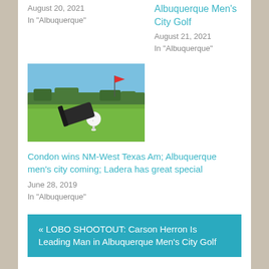August 20, 2021
In "Albuquerque"
Albuquerque Men's City Golf
August 21, 2021
In "Albuquerque"
[Figure (photo): Golf club driver next to a golf ball on a tee in green grass with trees and red flag in background]
Condon wins NM-West Texas Am; Albuquerque men's city coming; Ladera has great special
June 28, 2019
In "Albuquerque"
« LOBO SHOOTOUT: Carson Herron Is Leading Man in Albuquerque Men's City Golf